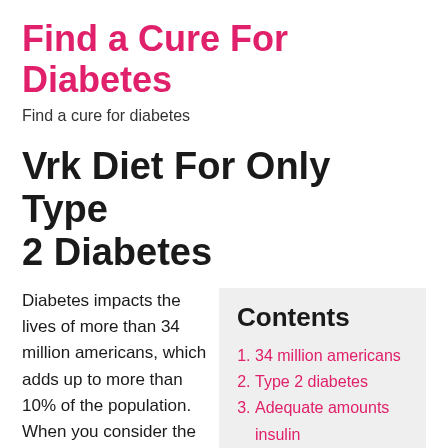Find a Cure For Diabetes
Find a cure for diabetes
Vrk Diet For Only Type 2 Diabetes
Diabetes impacts the lives of more than 34 million americans, which adds up to more than 10% of the population. When you consider the magnitude of the…
Contents
34 million americans
Type 2 diabetes
Adequate amounts insulin
Type 2 diabetic
2 diabetic follow type